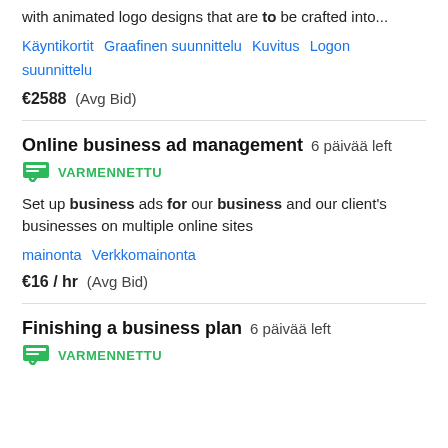with animated logo designs that are to be crafted into...
Käyntikortit   Graafinen suunnittelu   Kuvitus   Logon suunnittelu
€2588  (Avg Bid)
Online business ad management  6 päivää left
VARMENNETTU
Set up business ads for our business and our client's businesses on multiple online sites
mainonta   Verkkomainonta
€16 / hr  (Avg Bid)
Finishing a business plan  6 päivää left
VARMENNETTU